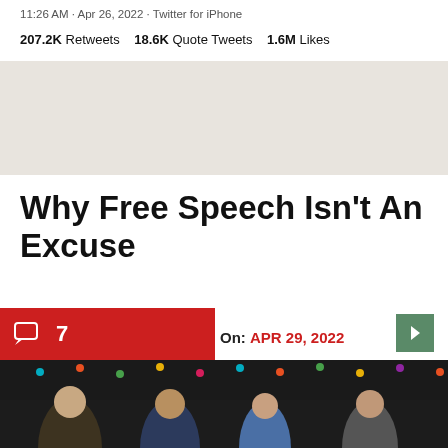11:26 AM · Apr 26, 2022 · Twitter for iPhone
207.2K Retweets   18.6K Quote Tweets   1.6M Likes
Why Free Speech Isn't An Excuse
On: APR 29, 2022
[Figure (photo): Four people standing together under string lights in a decorated indoor/outdoor market setting. Left to right: a stocky man in a brown jacket holding a yellow card, a bearded man in a flannel shirt, a woman in a denim jacket, and a man in a grey shirt.]